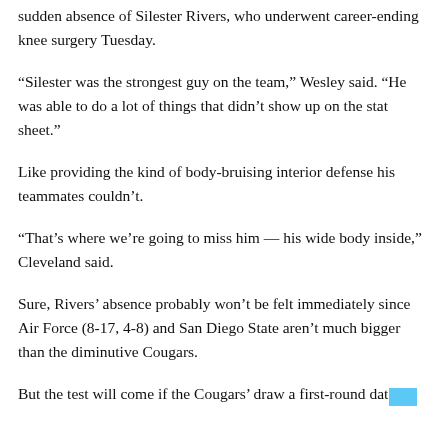sudden absence of Silester Rivers, who underwent career-ending knee surgery Tuesday.
“Silester was the strongest guy on the team,” Wesley said. “He was able to do a lot of things that didn’t show up on the stat sheet.”
Like providing the kind of body-bruising interior defense his teammates couldn’t.
“That’s where we’re going to miss him — his wide body inside,” Cleveland said.
Sure, Rivers’ absence probably won’t be felt immediately since Air Force (8-17, 4-8) and San Diego State aren’t much bigger than the diminutive Cougars.
But the test will come if the Cougars’ draw a first-round date